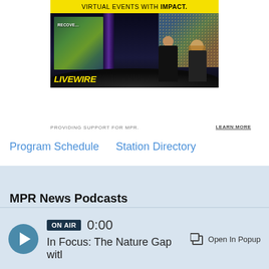[Figure (photo): Advertisement for Livewire virtual events company showing two presenters on a stage with large scenic screens behind them. Yellow banner at top reads 'VIRTUAL EVENTS WITH IMPACT.' Yellow Livewire logo at bottom left.]
PROVIDING SUPPORT FOR MPR.
LEARN MORE
Program Schedule   Station Directory
MPR News Podcasts
ON AIR  0:00  In Focus: The Nature Gap witl   Open In Popup